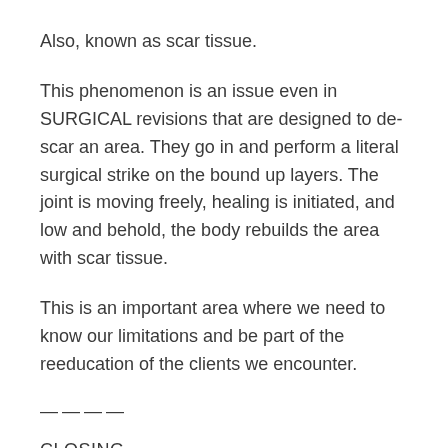Also, known as scar tissue.
This phenomenon is an issue even in SURGICAL revisions that are designed to de-scar an area. They go in and perform a literal surgical strike on the bound up layers. The joint is moving freely, healing is initiated, and low and behold, the body rebuilds the area with scar tissue.
This is an important area where we need to know our limitations and be part of the reeducation of the clients we encounter.
————
CLOSING
I'm hopeful that you will dig into this topic for yourself, but please be wary of things that sound too good to be true or